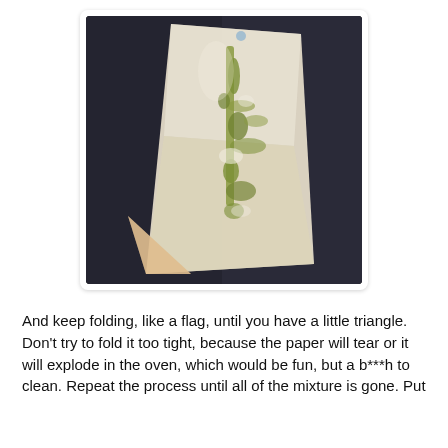[Figure (photo): A photo showing parchment/wax paper with green herbed mixture on a dark surface, folded into a triangular shape at the bottom — demonstrating the en papillote folding technique.]
And keep folding, like a flag, until you have a little triangle. Don't try to fold it too tight, because the paper will tear or it will explode in the oven, which would be fun, but a b***h to clean. Repeat the process until all of the mixture is gone. Put